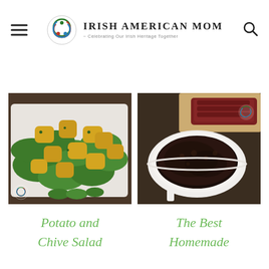Irish American Mom - Celebrating Our Irish Heritage Together
[Figure (photo): A plate of potato and chive salad with green arugula leaves on a white platter, with small brand logo overlay at bottom left]
[Figure (photo): A white bowl filled with dark homemade gravy/sauce, with a wooden board and meat in the background, brand logo overlay at top right]
Potato and Chive Salad
The Best Homemade